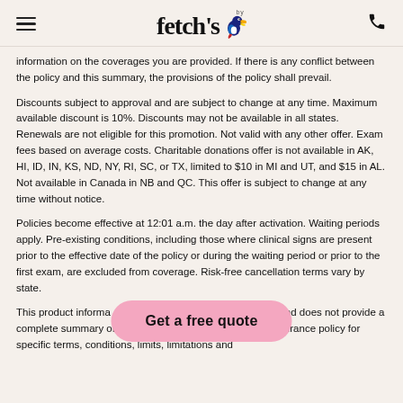fetch by [logo with toucan bird]
information on the coverages you are provided. If there is any conflict between the policy and this summary, the provisions of the policy shall prevail.
Discounts subject to approval and are subject to change at any time. Maximum available discount is 10%. Discounts may not be available in all states. Renewals are not eligible for this promotion. Not valid with any other offer. Exam fees based on average costs. Charitable donations offer is not available in AK, HI, ID, IN, KS, ND, NY, RI, SC, or TX, limited to $10 in MI and UT, and $15 in AL. Not available in Canada in NB and QC. This offer is subject to change at any time without notice.
Policies become effective at 12:01 a.m. the day after activation. Waiting periods apply. Pre-existing conditions, including those where clinical signs are present prior to the effective date of the policy or during the waiting period or prior to the first exam, are excluded from coverage. Risk-free cancellation terms vary by state.
This product information is for illustrative purposes only and does not provide a complete summary of coverage. Consult the applicable insurance policy for specific terms, conditions, limits, limitations and
[Figure (other): Pink pill-shaped button with text 'Get a free quote']